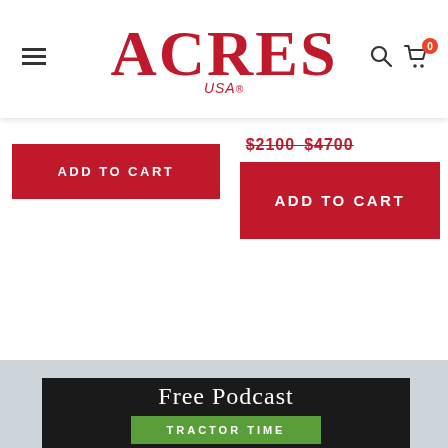ACRES USA — Navigation bar with hamburger menu, logo, search and cart icons
ADD TO CART
$21.00 $47.00 ADD TO CART
Free Podcast
TRACTOR TIME